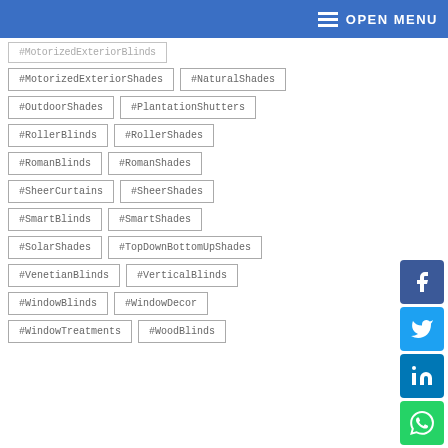OPEN MENU
#MotorizedExteriorShades
#NaturalShades
#OutdoorShades
#PlantationShutters
#RollerBlinds
#RollerShades
#RomanBlinds
#RomanShades
#SheerCurtains
#SheerShades
#SmartBlinds
#SmartShades
#SolarShades
#TopDownBottomUpShades
#VenetianBlinds
#VerticalBlinds
#WindowBlinds
#WindowDecor
#WindowTreatments
#WoodBlinds